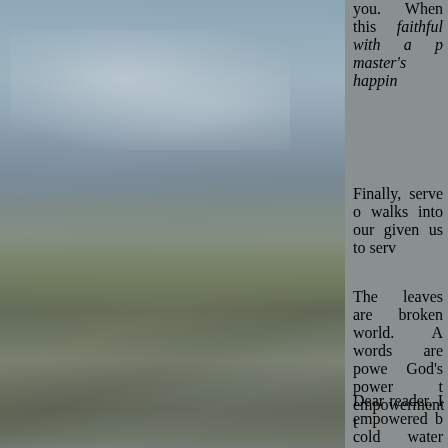[Figure (photo): Blurry landscape photograph showing a flat terrain with water or wetlands in the middle ground, muted sky above, and grassy or muddy land below. Muted blue-grey and green-grey tones throughout.]
you. When this faithful with a p master's happin
Finally, serve o walks into our given us to serv
The leaves are broken world. A words are powe God's power t empowerment t
Dear reader, I empowered b cold water loo